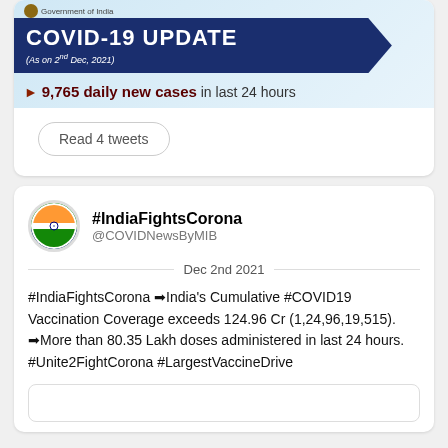[Figure (screenshot): COVID-19 Update banner from Government of India dated As on 2nd Dec, 2021, showing 9,765 daily new cases in last 24 hours, with a blue ribbon header on a light blue background with virus imagery]
Read 4 tweets
#IndiaFightsCorona @COVIDNewsByMIB Dec 2nd 2021
#IndiaFightsCorona ➡India's Cumulative #COVID19 Vaccination Coverage exceeds 124.96 Cr (1,24,96,19,515). ➡More than 80.35 Lakh doses administered in last 24 hours. #Unite2FightCorona #LargestVaccineDrive